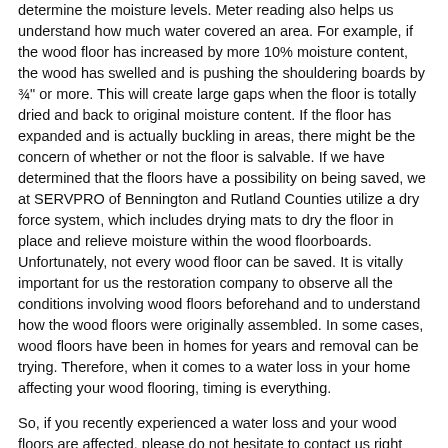determine the moisture levels. Meter reading also helps us understand how much water covered an area. For example, if the wood floor has increased by more 10% moisture content, the wood has swelled and is pushing the shouldering boards by ¾" or more. This will create large gaps when the floor is totally dried and back to original moisture content. If the floor has expanded and is actually buckling in areas, there might be the concern of whether or not the floor is salvable. If we have determined that the floors have a possibility on being saved, we at SERVPRO of Bennington and Rutland Counties utilize a dry force system, which includes drying mats to dry the floor in place and relieve moisture within the wood floorboards. Unfortunately, not every wood floor can be saved. It is vitally important for us the restoration company to observe all the conditions involving wood floors beforehand and to understand how the wood floors were originally assembled. In some cases, wood floors have been in homes for years and removal can be trying. Therefore, when it comes to a water loss in your home affecting your wood flooring, timing is everything.
So, if you recently experienced a water loss and your wood floors are affected, please do not hesitate to contact us right